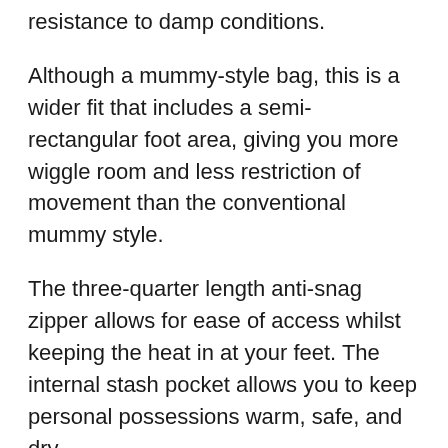resistance to damp conditions.
Although a mummy-style bag, this is a wider fit that includes a semi-rectangular foot area, giving you more wiggle room and less restriction of movement than the conventional mummy style.
The three-quarter length anti-snag zipper allows for ease of access whilst keeping the heat in at your feet. The internal stash pocket allows you to keep personal possessions warm, safe, and dry.
Compare Prices: